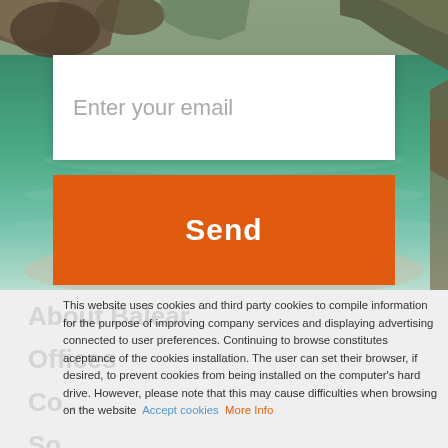[Figure (photo): Aerial/overhead photo of a rocky coastal beach area with turquoise water, rocky cliffs, and two small people visible on the beach.]
Enter your email
Send
About Balear
Offices
Co...
So...
Property for Sale
This website uses cookies and third party cookies to compile information for the purpose of improving company services and displaying advertising connected to user preferences. Continuing to browse constitutes aceptance of the cookies installation. The user can set their browser, if desired, to prevent cookies from being installed on the computer's hard drive. However, please note that this may cause difficulties when browsing on the website  Accept cookies  More Info